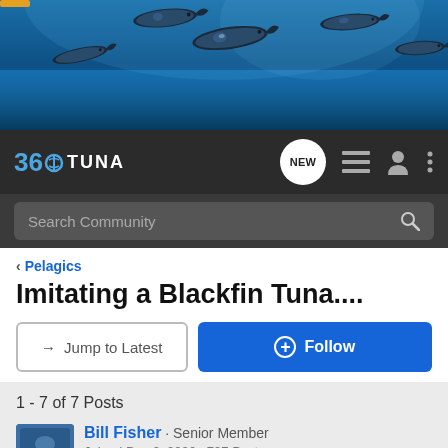[Figure (photo): Banner photo of a school of bluefin tuna swimming underwater in blue ocean]
[Figure (screenshot): 360Tuna website navigation bar with logo, NEW chat bubble icon, list icon, user icon, and vertical dots menu icon]
[Figure (screenshot): Search Community bar with magnifying glass icon]
< Pelagics
Imitating a Blackfin Tuna....
→ Jump to Latest
+ Follow
1 - 7 of 7 Posts
Bill Fisher · Senior Member
Joined Dec 2, 2006 · 797 Posts